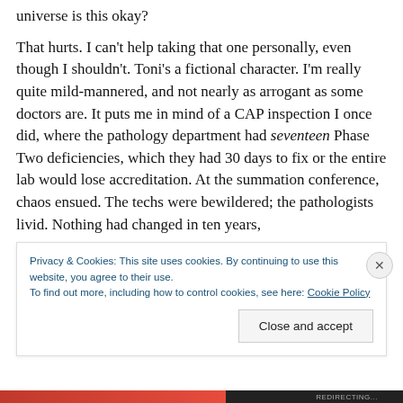universe is this okay?
That hurts. I can't help taking that one personally, even though I shouldn't. Toni's a fictional character. I'm really quite mild-mannered, and not nearly as arrogant as some doctors are. It puts me in mind of a CAP inspection I once did, where the pathology department had seventeen Phase Two deficiencies, which they had 30 days to fix or the entire lab would lose accreditation. At the summation conference, chaos ensued. The techs were bewildered; the pathologists livid. Nothing had changed in ten years, they protested, and they'd been through five other
Privacy & Cookies: This site uses cookies. By continuing to use this website, you agree to their use.
To find out more, including how to control cookies, see here: Cookie Policy
Close and accept